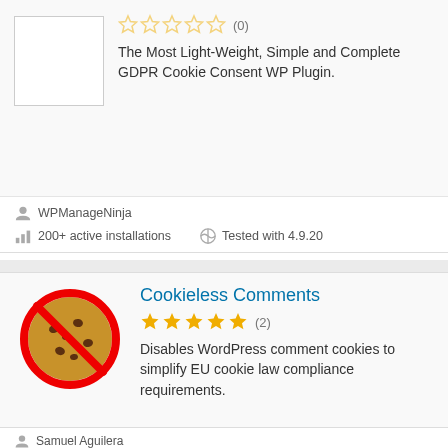☆☆☆☆☆ (0)
The Most Light-Weight, Simple and Complete GDPR Cookie Consent WP Plugin.
WPManageNinja
200+ active installations
Tested with 4.9.20
Cookieless Comments
★★★★★ (2)
Disables WordPress comment cookies to simplify EU cookie law compliance requirements.
Samuel Aguilera
100+ active installations
Tested with 4.9.20